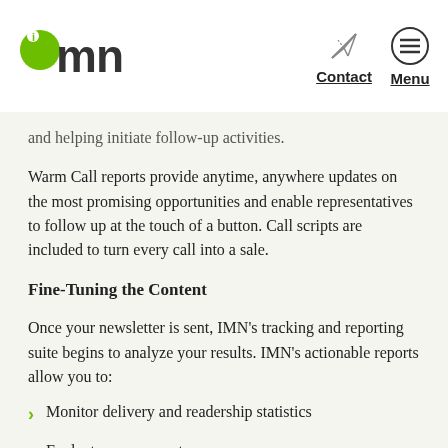IMN | Contact | Menu
and helping initiate follow-up activities.
Warm Call reports provide anytime, anywhere updates on the most promising opportunities and enable representatives to follow up at the touch of a button. Call scripts are included to turn every call into a sale.
Fine-Tuning the Content
Once your newsletter is sent, IMN's tracking and reporting suite begins to analyze your results. IMN's actionable reports allow you to:
Monitor delivery and readership statistics
Evaluate response rates